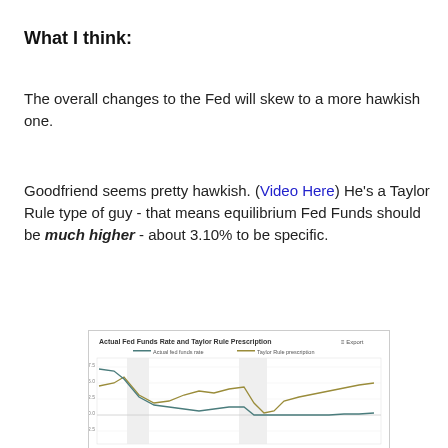What I think:
The overall changes to the Fed will skew to a more hawkish one.
Goodfriend seems pretty hawkish. (Video Here) He's a Taylor Rule type of guy - that means equilibrium Fed Funds should be much higher - about 3.10% to be specific.
[Figure (line-chart): Line chart showing Actual Fed Funds rate and Taylor Rule prescription over time, with two shaded regions. The Taylor Rule line (olive/gold) starts around 7.5 then drops then rises. The Actual Fed Funds rate (teal/blue) starts high then falls to near zero and remains flat.]